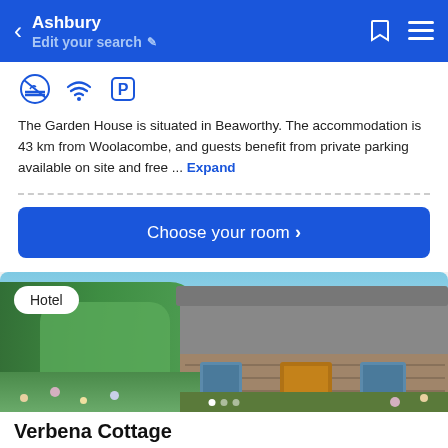Ashbury — Edit your search
[Figure (screenshot): Amenity icons: no smoking, wifi, parking]
The Garden House is situated in Beaworthy. The accommodation is 43 km from Woolacombe, and guests benefit from private parking available on site and free ... Expand
Choose your room ›
[Figure (photo): Photo of Verbena Cottage: a stone-built thatched cottage surrounded by garden plants and flowers under a blue sky. Badge: Hotel]
Verbena Cottage